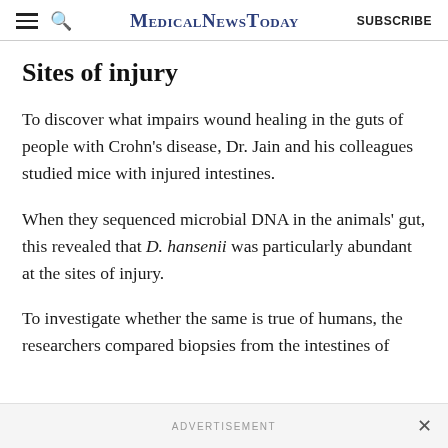MedicalNewsToday
Sites of injury
To discover what impairs wound healing in the guts of people with Crohn's disease, Dr. Jain and his colleagues studied mice with injured intestines.
When they sequenced microbial DNA in the animals' gut, this revealed that D. hansenii was particularly abundant at the sites of injury.
To investigate whether the same is true of humans, the researchers compared biopsies from the intestines of
ADVERTISEMENT